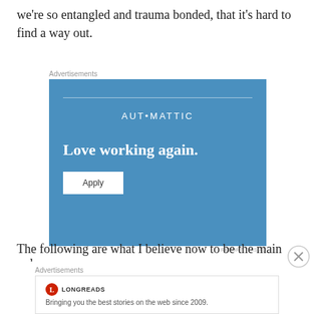we're so entangled and trauma bonded, that it's hard to find a way out.
[Figure (other): Automattic advertisement with blue background. Shows 'AUTOMATTIC' brand name at top, headline 'Love working again.' and an Apply button.]
The following are what I believe now to be the main red
[Figure (other): Longreads advertisement. Shows Longreads logo and tagline 'Bringing you the best stories on the web since 2009.']